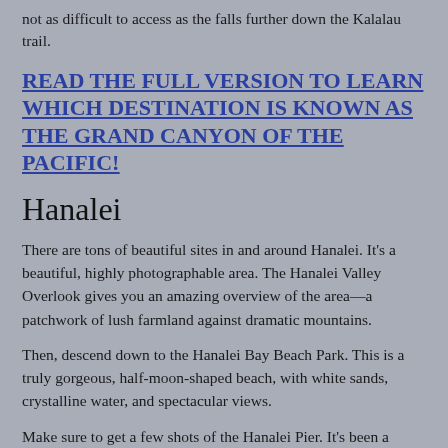not as difficult to access as the falls further down the Kalalau trail.
READ THE FULL VERSION TO LEARN WHICH DESTINATION IS KNOWN AS THE GRAND CANYON OF THE PACIFIC!
Hanalei
There are tons of beautiful sites in and around Hanalei. It’s a beautiful, highly photographable area. The Hanalei Valley Overlook gives you an amazing overview of the area—a patchwork of lush farmland against dramatic mountains.
Then, descend down to the Hanalei Bay Beach Park. This is a truly gorgeous, half-moon-shaped beach, with white sands, crystalline water, and spectacular views.
Make sure to get a few shots of the Hanalei Pier. It’s been a Kauai landmark since it was first built in the late 1890s. Though the pier has